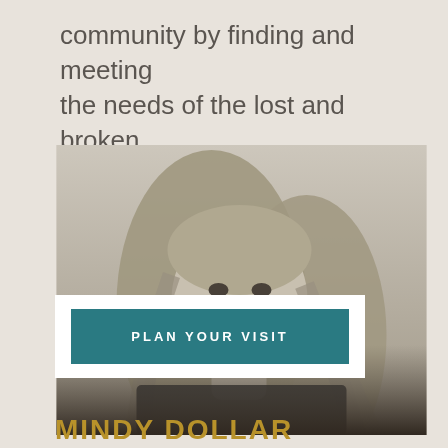community by finding and meeting the needs of the lost and broken.
[Figure (photo): Black and white portrait photo of a smiling blonde woman with long straight hair, wearing dark clothing.]
PLAN YOUR VISIT
MINDY DOLLAR